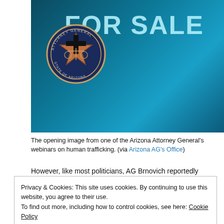[Figure (photo): Opening image from an Arizona Attorney General webinar on human trafficking. Dark teal/cyan background with a hand holding a sign reading 'FOR SALE'. Arizona Attorney General State of Arizona seal/logo in the bottom-left of the image.]
The opening image from one of the Arizona Attorney General's webinars on human trafficking. (via Arizona AG's Office)
However, like most politicians, AG Brnovich reportedly yearns for higher office, specifically to replace Arizona Governor Doug Ducey, who is termed out in 2022. Various state publications, including the Arizona Republic, the AZ Mirror and the Arizona Capitol Times, have made mention of
Privacy & Cookies: This site uses cookies. By continuing to use this website, you agree to their use.
To find out more, including how to control cookies, see here: Cookie Policy
Close and accept
the case, rather, the federal government is. So the outcome is